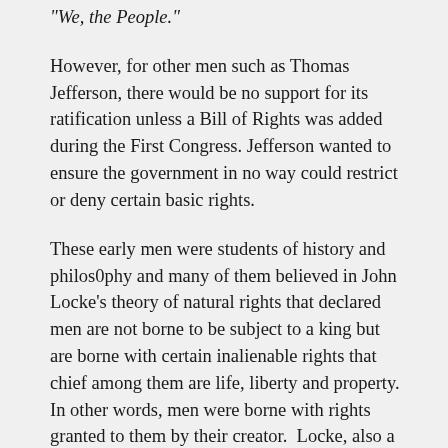“We, the People.”
However, for other men such as Thomas Jefferson, there would be no support for its ratification unless a Bill of Rights was added during the First Congress. Jefferson wanted to ensure the government in no way could restrict or deny certain basic rights.
These early men were students of history and philos0phy and many of them believed in John Locke’s theory of natural rights that declared men are not borne to be subject to a king but are borne with certain inalienable rights that chief among them are life, liberty and property. In other words, men were borne with rights granted to them by their creator.  Locke, also a student of history and an observer of his time, knew that when government in any form has the power to grant rights, it has the power to remove rights, leaving the people subjects of the government, and not free to